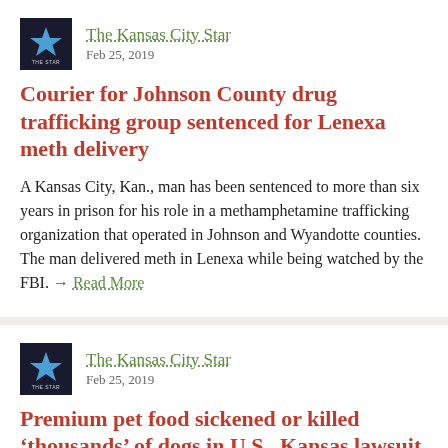The Kansas City Star — Feb 25, 2019
Courier for Johnson County drug trafficking group sentenced for Lenexa meth delivery
A Kansas City, Kan., man has been sentenced to more than six years in prison for his role in a methamphetamine trafficking organization that operated in Johnson and Wyandotte counties. The man delivered meth in Lenexa while being watched by the FBI. → Read More
The Kansas City Star — Feb 25, 2019
Premium pet food sickened or killed 'thousands' of dogs in U.S., Kansas lawsuit says
A lawsuit filed in federal court in Kansas alleges